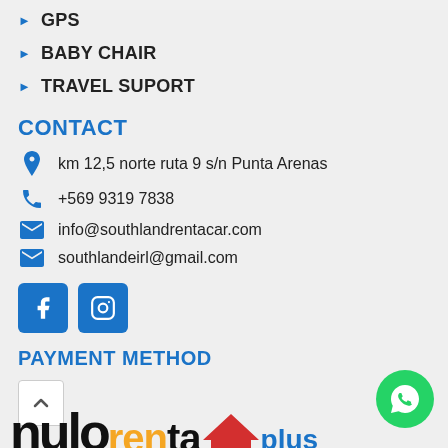GPS
BABY CHAIR
TRAVEL SUPORT
CONTACT
km 12,5 norte ruta 9 s/n Punta Arenas
+569 9319 7838
info@southlandrentacar.com
southlandeirl@gmail.com
[Figure (logo): Facebook and Instagram social media buttons (blue rounded squares with icons)]
PAYMENT METHOD
[Figure (other): Scroll up button (chevron up arrow in white box) and WhatsApp bubble icon (green circle, bottom right)]
[Figure (logo): Partial logo text at bottom of page - nulo/rentacar plus with red house icon]